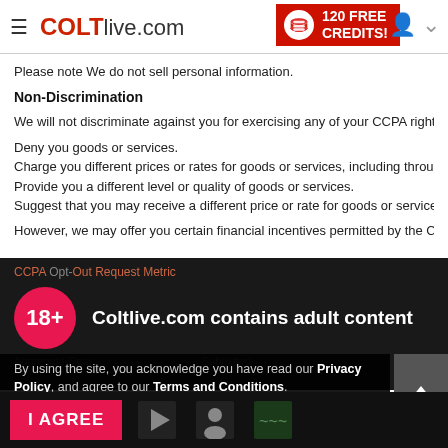COLTlive.com — 120 FREE CREDITS!
Please note We do not sell personal information.
Non-Discrimination
We will not discriminate against you for exercising any of your CCPA rights. Unless permitted by the CCPA, we will not:
Deny you goods or services.
Charge you different prices or rates for goods or services, including through granting discounts or other benefits, or imposing penalties.
Provide you a different level or quality of goods or services.
Suggest that you may receive a different price or rate for goods or services or a different level or quality of goods or services.
However, we may offer you certain financial incentives permitted by the CCPA that can result in different prices, rates, or quality levels.
[Figure (screenshot): Age verification overlay: 18+ badge and text 'Coltlive.com contains adult content' on dark background]
By using the site, you acknowledge you have read our Privacy Policy, and agree to our Terms and Conditions.
We use cookies to optimize your experience, analyze traffic, and deliver more personalized service. To learn more, please see our Privacy Policy.
I AGREE